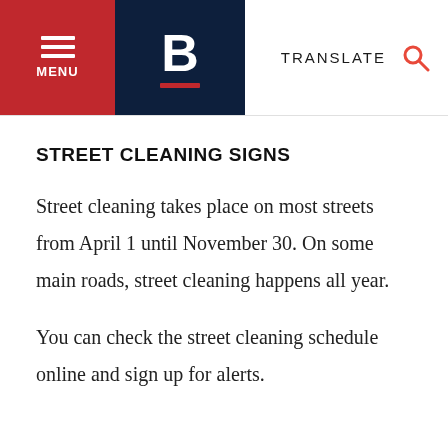MENU | B | TRANSLATE
STREET CLEANING SIGNS
Street cleaning takes place on most streets from April 1 until November 30. On some main roads, street cleaning happens all year.
You can check the street cleaning schedule online and sign up for alerts.